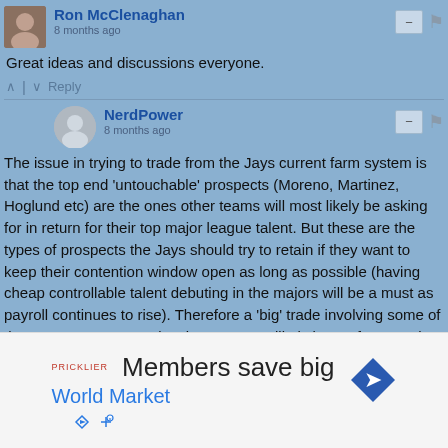Ron McClenaghan
8 months ago
Great ideas and discussions everyone.
Reply
NerdPower
8 months ago
The issue in trying to trade from the Jays current farm system is that the top end 'untouchable' prospects (Moreno, Martinez, Hoglund etc) are the ones other teams will most likely be asking for in return for their top major league talent. But these are the types of prospects the Jays should try to retain if they want to keep their contention window open as long as possible (having cheap controllable talent debuting in the majors will be a must as payroll continues to rise). Therefore a 'big' trade involving some of the Jays top prospects leaving seems unlikely imo. Of course they could look to trade some of their lower end prospects but other
[Figure (infographic): Advertisement: Members save big - World Market with logo and direction sign icon]